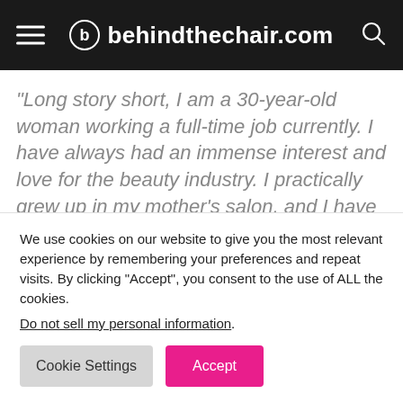behindthechair.com
“Long story short, I am a 30-year-old woman working a full-time job currently. I have always had an immense interest and love for the beauty industry. I practically grew up in my mother’s salon, and I have worked with makeup and skincare before. Anyhow, I am considering going to beauty school for the first time in the next 1 to
We use cookies on our website to give you the most relevant experience by remembering your preferences and repeat visits. By clicking “Accept”, you consent to the use of ALL the cookies.
Do not sell my personal information.